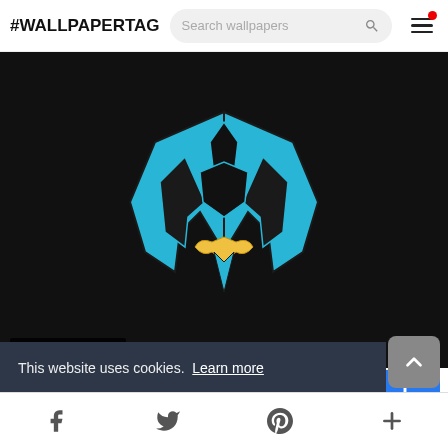#WALLPAPERTAG
[Figure (illustration): Dark wallpaper featuring a blue and gold Batman-style winged logo/emblem on a black background. Label reads: 1920x1080 Comics -]
1920x1080 Comics -
[Figure (screenshot): Social sharing buttons: Facebook, Pinterest, Twitter, Flag. Blue download button on the right.]
This website uses cookies.  Learn more
Got it!
Facebook  Twitter  Pinterest  +